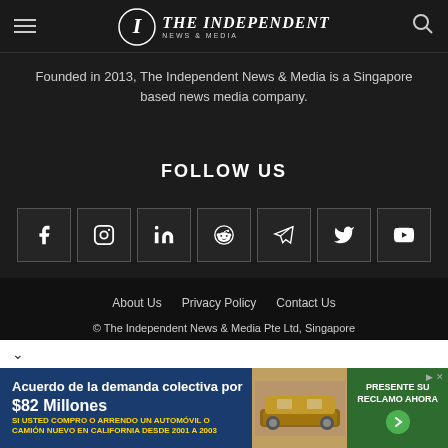THE INDEPENDENT NEWS & MEDIA
Founded in 2013, The Independent News & Media is a Singapore based news media company.
FOLLOW US
[Figure (infographic): Row of 7 social media icon boxes: Facebook, Instagram, LinkedIn, Reddit, Telegram, Twitter, YouTube]
About Us   Privacy Policy   Contact Us
© The Independent News & Media Pte Ltd, Singapore
[Figure (infographic): Advertisement banner: Acuerdo de la demanda colectiva por $82 Millones. SI USTED COMPRO O ARRENDO UN AUTOMOVIL O CAMION NUEVO EN CALIFORNIA DESDE 2001 A 2003. PRESENTE SU RECLAMO AHORA.]